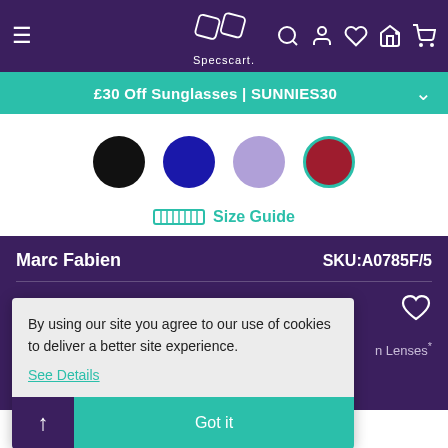Specscart navigation bar with hamburger menu, logo, search, account, wishlist, store, and cart icons
£30 Off Sunglasses | SUNNIES30
[Figure (other): Four color selector circles: black, dark blue, lavender/purple, dark red (selected with teal border)]
Size Guide
Marc Fabien
SKU:A0785F/5
CALAIS 4
By using our site you agree to our use of cookies to deliver a better site experience.
See Details
Got it
n Lenses*
Sold Out